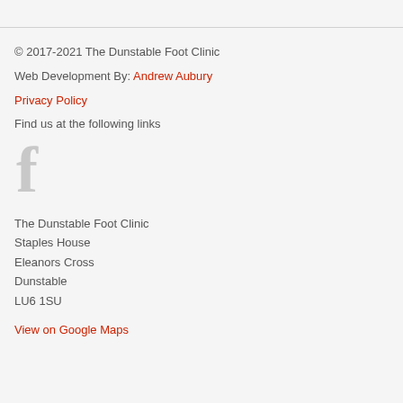© 2017-2021 The Dunstable Foot Clinic
Web Development By: Andrew Aubury
Privacy Policy
Find us at the following links
[Figure (logo): Facebook logo icon in grey]
The Dunstable Foot Clinic
Staples House
Eleanors Cross
Dunstable
LU6 1SU
View on Google Maps